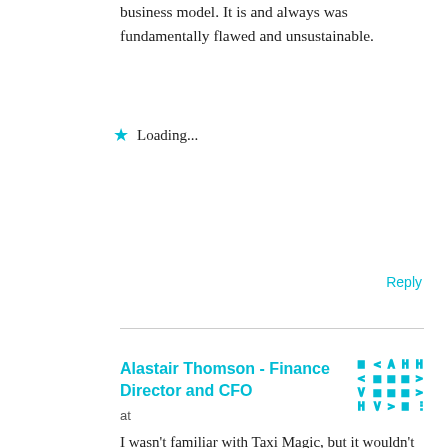business model. It is and always was fundamentally flawed and unsustainable.
Loading...
Reply
Alastair Thomson - Finance Director and CFO
at
I wasn't familiar with Taxi Magic, but it wouldn't surprise me. Just as I wouldn't be surprised that anyone who knew anything about transportation wouldn't adopt the Uber approach. I know nothing about transportation, but I know enough about finance to know the chances of it working out has